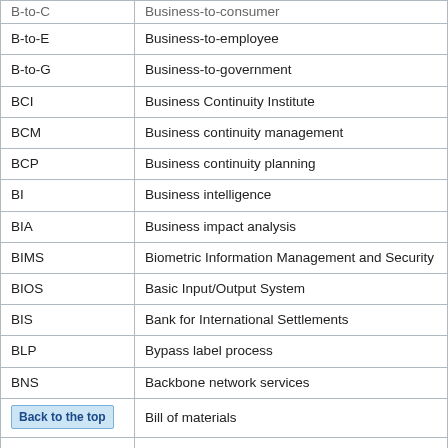| Abbreviation | Definition |
| --- | --- |
| B-to-C (partial, cut off) | Business-to-consumer (partial, cut off) |
| B-to-E | Business-to-employee |
| B-to-G | Business-to-government |
| BCI | Business Continuity Institute |
| BCM | Business continuity management |
| BCP | Business continuity planning |
| BI | Business intelligence |
| BIA | Business impact analysis |
| BIMS | Biometric Information Management and Security |
| BIOS | Basic Input/Output System |
| BIS | Bank for International Settlements |
| BLP | Bypass label process |
| BNS | Backbone network services |
| BOM | Bill of materials |
| BOMP | Bill of materials processor |
| (partial row) | (partial row) |